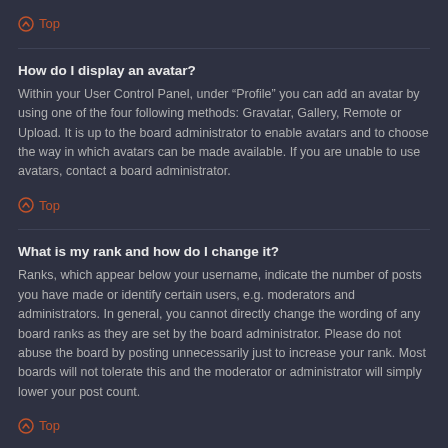Top
How do I display an avatar?
Within your User Control Panel, under “Profile” you can add an avatar by using one of the four following methods: Gravatar, Gallery, Remote or Upload. It is up to the board administrator to enable avatars and to choose the way in which avatars can be made available. If you are unable to use avatars, contact a board administrator.
Top
What is my rank and how do I change it?
Ranks, which appear below your username, indicate the number of posts you have made or identify certain users, e.g. moderators and administrators. In general, you cannot directly change the wording of any board ranks as they are set by the board administrator. Please do not abuse the board by posting unnecessarily just to increase your rank. Most boards will not tolerate this and the moderator or administrator will simply lower your post count.
Top
When I click the email link for a user it asks me to login?
Only registered users can send email to other users via the built-in email form, and only if the administrator has enabled this feature. This is to prevent malicious use of the email system by anonymous users.